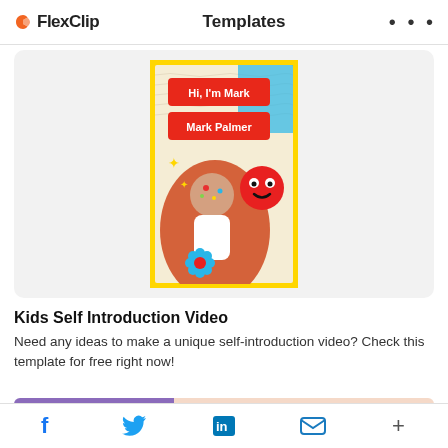FlexClip  Templates  ...
[Figure (screenshot): Kids self-introduction video template thumbnail showing a child with stickers on face, red smiley emoji, text overlays 'Hi, I'm Mark' and 'Mark Palmer' on red banners, colorful decorative elements, yellow border frame]
Kids Self Introduction Video
Need any ideas to make a unique self-introduction video? Check this template for free right now!
[Figure (screenshot): Partial preview of another template at bottom of page with purple and peach/skin tone sections]
Social share bar: Facebook, Twitter, LinkedIn, Email, Plus